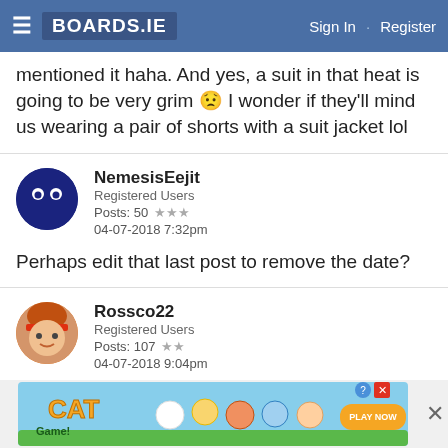BOARDS.IE  Sign In · Register
mentioned it haha. And yes, a suit in that heat is going to be very grim 😟 I wonder if they'll mind us wearing a pair of shorts with a suit jacket lol
NemesisEejit
Registered Users
Posts: 50 ★★★
04-07-2018 7:32pm
Perhaps edit that last post to remove the date?
Rossco22
Registered Users
Posts: 107 ★★
04-07-2018 9:04pm
[Figure (screenshot): Cat Game advertisement banner with cartoon characters and PLAY NOW button]